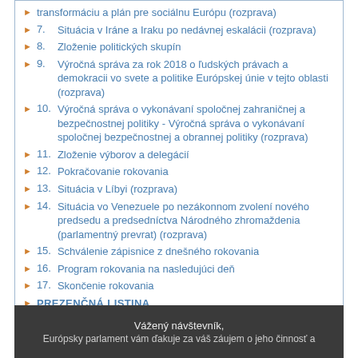transformáciu a plán pre sociálnu Európu (rozprava)
7. Situácia v Iráne a Iraku po nedávnej eskalácii (rozprava)
8. Zloženie politických skupín
9. Výročná správa za rok 2018 o ľudských právach a demokracii vo svete a politike Európskej únie v tejto oblasti (rozprava)
10. Výročná správa o vykonávaní spoločnej zahraničnej a bezpečnostnej politiky - Výročná správa o vykonávaní spoločnej bezpečnostnej a obrannej politiky (rozprava)
11. Zloženie výborov a delegácií
12. Pokračovanie rokovania
13. Situácia v Líbyi (rozprava)
14. Situácia vo Venezuele po nezákonnom zvolení nového predsedu a predsedníctva Národného zhromaždenia (parlamentný prevrat) (rozprava)
15. Schválenie zápisnice z dnešného rokovania
16. Program rokovania na nasledujúci deň
17. Skončenie rokovania
PREZENČNÁ LISTINA
Vážený návštevník,
Európsky parlament vám ďakuje za váš záujem o jeho činnosť a